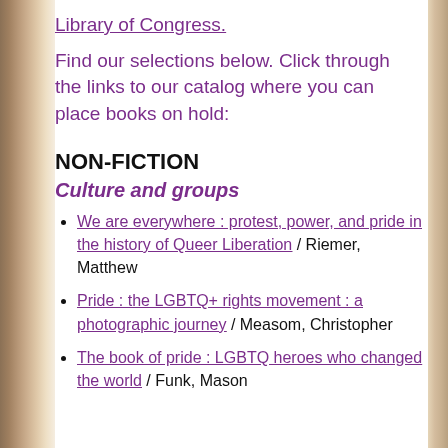Library of Congress.
Find our selections below. Click through the links to our catalog where you can place books on hold:
NON-FICTION
Culture and groups
We are everywhere : protest, power, and pride in the history of Queer Liberation / Riemer, Matthew
Pride : the LGBTQ+ rights movement : a photographic journey / Measom, Christopher
The book of pride : LGBTQ heroes who changed the world / Funk, Mason